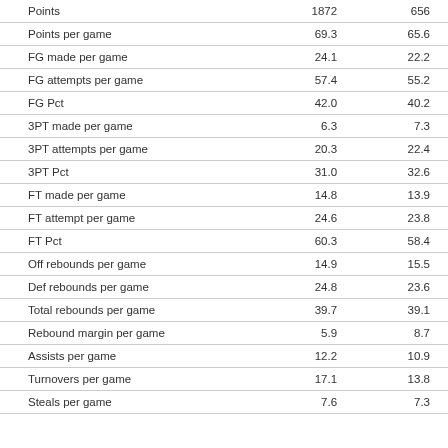| Points | 1872 | 656 |
| Points per game | 69.3 | 65.6 |
| FG made per game | 24.1 | 22.2 |
| FG attempts per game | 57.4 | 55.2 |
| FG Pct | 42.0 | 40.2 |
| 3PT made per game | 6.3 | 7.3 |
| 3PT attempts per game | 20.3 | 22.4 |
| 3PT Pct | 31.0 | 32.6 |
| FT made per game | 14.8 | 13.9 |
| FT attempt per game | 24.6 | 23.8 |
| FT Pct | 60.3 | 58.4 |
| Off rebounds per game | 14.9 | 15.5 |
| Def rebounds per game | 24.8 | 23.6 |
| Total rebounds per game | 39.7 | 39.1 |
| Rebound margin per game | 5.9 | 8.7 |
| Assists per game | 12.2 | 10.9 |
| Turnovers per game | 17.1 | 13.8 |
| Steals per game | 7.6 | 7.3 |